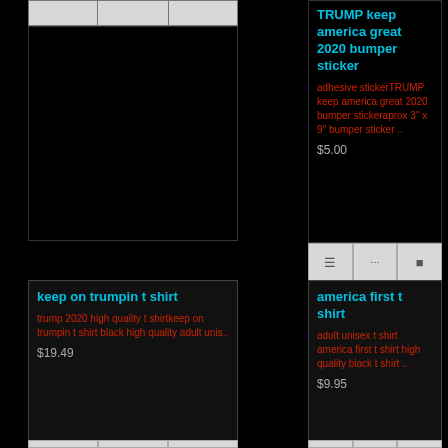[Figure (screenshot): Partial top-left product card action bar (cut off at top)]
TRUMP keep america great 2020 bumper sticker
adhesive stickerTRUMP keep america great 2020 bumper stickeraprox 3" x 9" bumper sticker ..
$5.00
[Figure (screenshot): Action bar with three buttons for top-right product card]
keep on trumpin t shirt
trump 2020 high quality t shirtkeep on trumpin t shirt black high quality adult unis..
$19.49
america first t shirt
adult unisex t shirt america first t shirt high quality black t shirt ..
$9.95